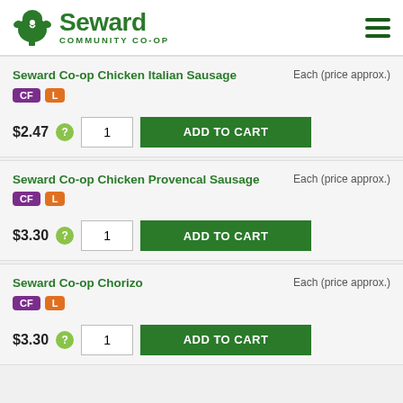Seward Community Co-op
Seward Co-op Chicken Italian Sausage — CF, L — Each (price approx.) — $2.47 — ADD TO CART
Seward Co-op Chicken Provencal Sausage — CF, L — Each (price approx.) — $3.30 — ADD TO CART
Seward Co-op Chorizo — CF, L — Each (price approx.) — $3.30 — ADD TO CART